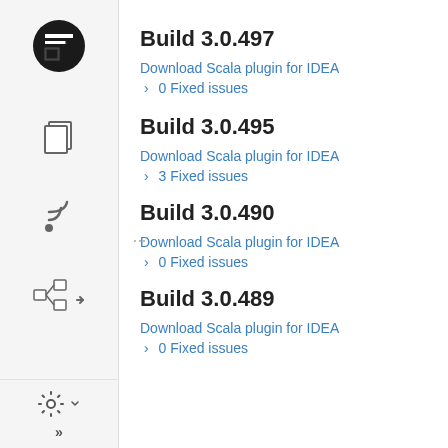Build 3.0.497
Download Scala plugin for IDEA
› 0 Fixed issues
Build 3.0.495
Download Scala plugin for IDEA
› 3 Fixed issues
Build 3.0.490
Download Scala plugin for IDEA
› 0 Fixed issues
Build 3.0.489
Download Scala plugin for IDEA
› 0 Fixed issues